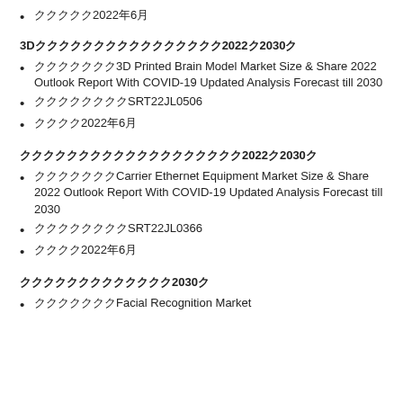発行日2022年6月
3D印刷脳モデル市場規模と市場シェア2022年2030年
レポート名：3D Printed Brain Model Market Size & Share 2022 Outlook Report With COVID-19 Updated Analysis Forecast till 2030
レポートコードSRT22JL0506
発行日2022年6月
キャリアイーサネット機器市場規模と市場シェア2022年2030年
レポート名：Carrier Ethernet Equipment Market Size & Share 2022 Outlook Report With COVID-19 Updated Analysis Forecast till 2030
レポートコードSRT22JL0366
発行日2022年6月
顔認識市場規模2030年
レポート名：Facial Recognition Market